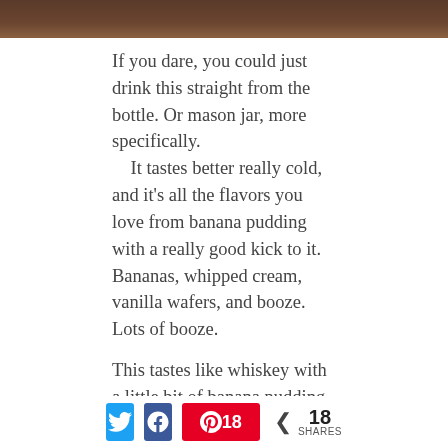[Figure (photo): Top portion of an image showing what appears to be a dark bottle or mason jar]
If you dare, you could just drink this straight from the bottle. Or mason jar, more specifically.
    It tastes better really cold, and it's all the flavors you love from banana pudding with a really good kick to it. Bananas, whipped cream, vanilla wafers, and booze. Lots of booze.
This tastes like whiskey with a little bit of banana pudding mixed in. It leaves that warmth in your throat and chest that a nice whiskey gives you. So if that can be transformed into an ice cream, uh, yes, please.
Here is the recipe I used:
[Figure (infographic): Social share bar with Twitter, Facebook, Pinterest (18 pins) buttons and total share count of 18 SHARES]